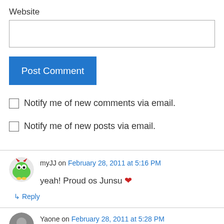Website
Post Comment
Notify me of new comments via email.
Notify me of new posts via email.
myJJ on February 28, 2011 at 5:16 PM
yeah! Proud os Junsu ❤
↳ Reply
Yaone on February 28, 2011 at 5:28 PM